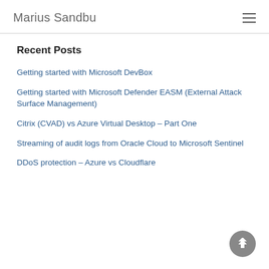Marius Sandbu
Recent Posts
Getting started with Microsoft DevBox
Getting started with Microsoft Defender EASM (External Attack Surface Management)
Citrix (CVAD) vs Azure Virtual Desktop – Part One
Streaming of audit logs from Oracle Cloud to Microsoft Sentinel
DDoS protection – Azure vs Cloudflare